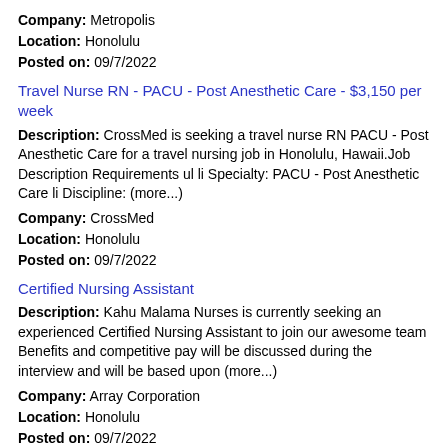Company: Metropolis
Location: Honolulu
Posted on: 09/7/2022
Travel Nurse RN - PACU - Post Anesthetic Care - $3,150 per week
Description: CrossMed is seeking a travel nurse RN PACU - Post Anesthetic Care for a travel nursing job in Honolulu, Hawaii.Job Description Requirements ul li Specialty: PACU - Post Anesthetic Care li Discipline: (more...)
Company: CrossMed
Location: Honolulu
Posted on: 09/7/2022
Certified Nursing Assistant
Description: Kahu Malama Nurses is currently seeking an experienced Certified Nursing Assistant to join our awesome team Benefits and competitive pay will be discussed during the interview and will be based upon (more...)
Company: Array Corporation
Location: Honolulu
Posted on: 09/7/2022
Client Success Associate (Remote)